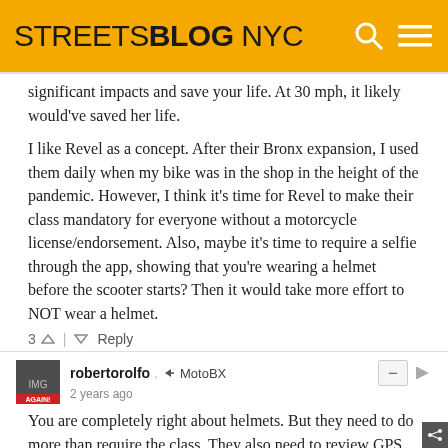STREETSBLOG NYC
significant impacts and save your life. At 30 mph, it likely would've saved her life.
I like Revel as a concept. After their Bronx expansion, I used them daily when my bike was in the shop in the height of the pandemic. However, I think it's time for Revel to make their class mandatory for everyone without a motorcycle license/endorsement. Also, maybe it's time to require a selfie through the app, showing that you're wearing a helmet before the scooter starts? Then it would take more effort to NOT wear a helmet.
3 ↑ | ↓ Reply
robertorolfo . → MotoBX
2 years ago
You are completely right about helmets. But they need to do more than require the class. They also need to review GPS data for riders and ban users who ride recklessly and in places where they don't belong. Every night the park in